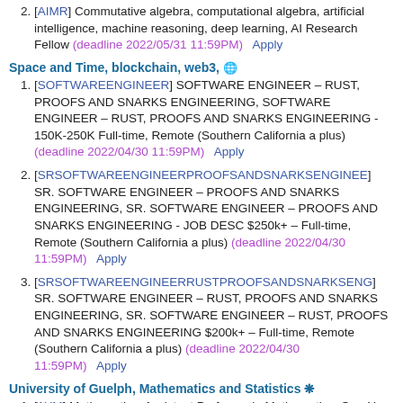2. [AIMR] Commutative algebra, computational algebra, artificial intelligence, machine reasoning, deep learning, AI Research Fellow (deadline 2022/05/31 11:59PM)   Apply
Space and Time, blockchain, web3, 🌐
1. [SOFTWAREENGINEER] SOFTWARE ENGINEER – RUST, PROOFS AND SNARKS ENGINEERING, SOFTWARE ENGINEER – RUST, PROOFS AND SNARKS ENGINEERING - 150K-250K Full-time, Remote (Southern California a plus) (deadline 2022/04/30 11:59PM)   Apply
2. [SRSOFTWAREENGINEERPROOFSANDSNARKSENGINEE] SR. SOFTWARE ENGINEER – PROOFS AND SNARKS ENGINEERING, SR. SOFTWARE ENGINEER – PROOFS AND SNARKS ENGINEERING - JOB DESC $250k+ – Full-time, Remote (Southern California a plus) (deadline 2022/04/30 11:59PM)   Apply
3. [SRSOFTWAREENGINEERRUSTPROOFSANDSNARKSENG] SR. SOFTWARE ENGINEER – RUST, PROOFS AND SNARKS ENGINEERING, SR. SOFTWARE ENGINEER – RUST, PROOFS AND SNARKS ENGINEERING $200k+ – Full-time, Remote (Southern California a plus) (deadline 2022/04/30 11:59PM)   Apply
University of Guelph, Mathematics and Statistics ❋
1. [1YM] Mathematics, Assistant Professor in Mathematics, One-Year Contractually-Limited (deadline 2022/06/20 11:59PM)   Apply
2. [1YS] Statistics, Assistant Professor in Statistics, One-Year